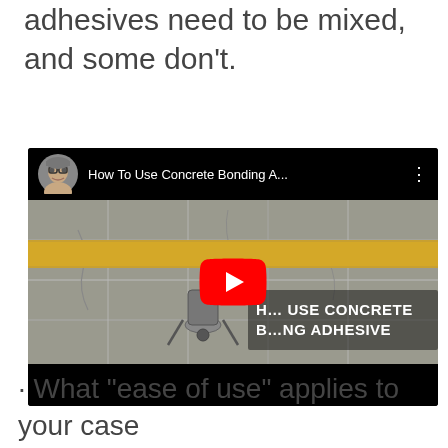adhesives need to be mixed, and some don't.
[Figure (screenshot): YouTube video thumbnail showing 'How To Use Concrete Bonding A...' with a concrete floor scene, a wheelbarrow, yellow bonding agent strip, play button overlay, and text 'H... USE CONCRETE B...NG ADHESIVE']
What “ease of use” applies to your case